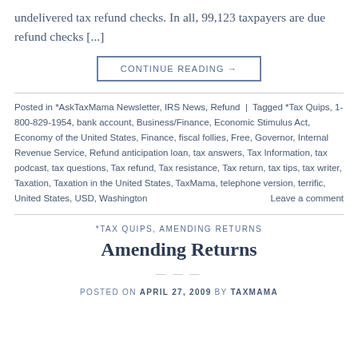undelivered tax refund checks. In all, 99,123 taxpayers are due refund checks [...]
CONTINUE READING →
Posted in *AskTaxMama Newsletter, IRS News, Refund | Tagged *Tax Quips, 1-800-829-1954, bank account, Business/Finance, Economic Stimulus Act, Economy of the United States, Finance, fiscal follies, Free, Governor, Internal Revenue Service, Refund anticipation loan, tax answers, Tax Information, tax podcast, tax questions, Tax refund, Tax resistance, Tax return, tax tips, tax writer, Taxation, Taxation in the United States, TaxMama, telephone version, terrific, United States, USD, Washington   Leave a comment
*TAX QUIPS, AMENDING RETURNS
Amending Returns
POSTED ON APRIL 27, 2009 BY TAXMAMA